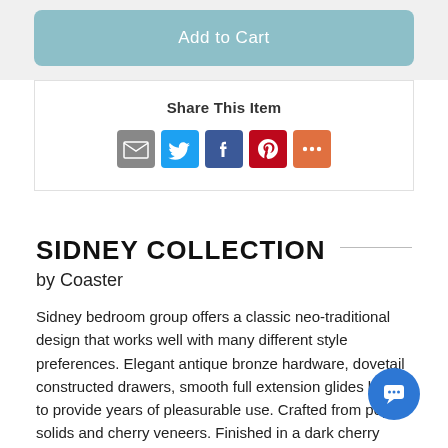Add to Cart
Share This Item
[Figure (infographic): Social share icons: Email (grey), Twitter (blue), Facebook (dark blue), Pinterest (red), More (orange)]
SIDNEY COLLECTION
by Coaster
Sidney bedroom group offers a classic neo-traditional design that works well with many different style preferences. Elegant antique bronze hardware, dovetail constructed drawers, smooth full extension glides built to provide years of pleasurable use. Crafted from poplar solids and cherry veneers. Finished in a dark cherry tone.